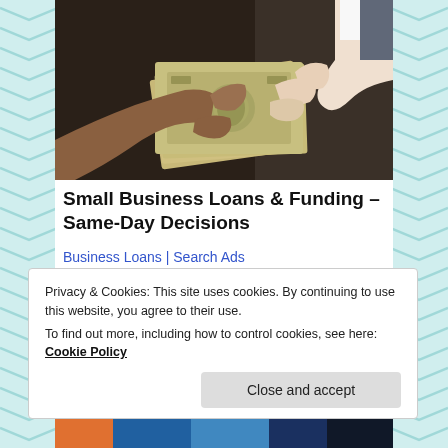[Figure (photo): Two hands exchanging a stack of US dollar bills, close-up photo on dark background]
Small Business Loans & Funding – Same-Day Decisions
Business Loans | Search Ads
Privacy & Cookies: This site uses cookies. By continuing to use this website, you agree to their use.
To find out more, including how to control cookies, see here: Cookie Policy
Close and accept